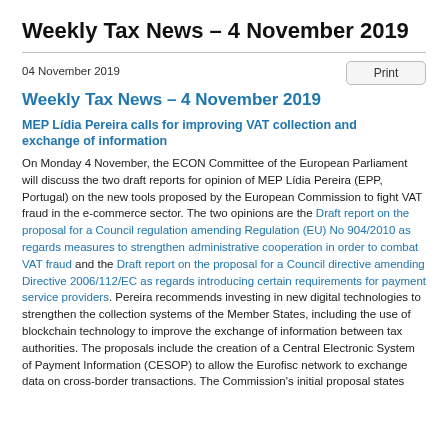Weekly Tax News – 4 November 2019
04 November 2019
Weekly Tax News – 4 November 2019
MEP Lídia Pereira calls for improving VAT collection and exchange of information
On Monday 4 November, the ECON Committee of the European Parliament will discuss the two draft reports for opinion of MEP Lídia Pereira (EPP, Portugal) on the new tools proposed by the European Commission to fight VAT fraud in the e-commerce sector. The two opinions are the Draft report on the proposal for a Council regulation amending Regulation (EU) No 904/2010 as regards measures to strengthen administrative cooperation in order to combat VAT fraud and the Draft report on the proposal for a Council directive amending Directive 2006/112/EC as regards introducing certain requirements for payment service providers. Pereira recommends investing in new digital technologies to strengthen the collection systems of the Member States, including the use of blockchain technology to improve the exchange of information between tax authorities. The proposals include the creation of a Central Electronic System of Payment Information (CESOP) to allow the Eurofisc network to exchange data on cross-border transactions. The Commission's initial proposal states